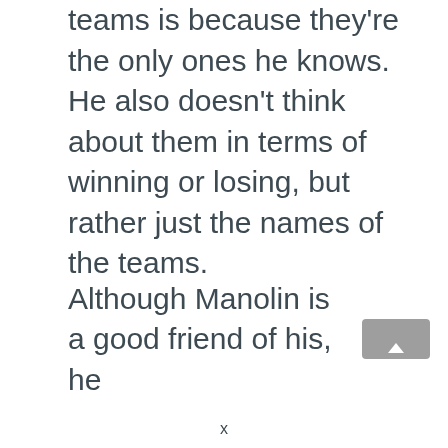teams is because they're the only ones he knows. He also doesn't think about them in terms of winning or losing, but rather just the names of the teams.
Although Manolin is a good friend of his, he